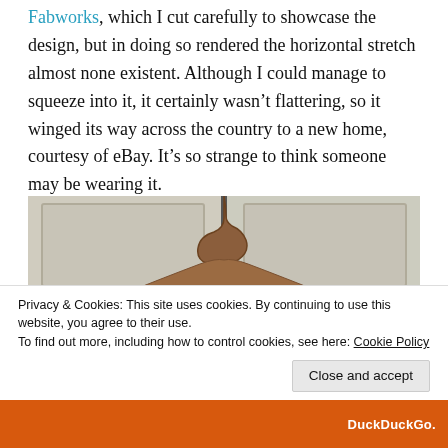Fabworks, which I cut carefully to showcase the design, but in doing so rendered the horizontal stretch almost none existent. Although I could manage to squeeze into it, it certainly wasn't flattering, so it winged its way across the country to a new home, courtesy of eBay. It's so strange to think someone may be wearing it.
[Figure (photo): A colorful tie-dye style jacket or top hanging on a wooden hanger on a white door. The garment features blue, black, green and yellow patterns. A decorative wooden hanger with a hook over the top of the door.]
Privacy & Cookies: This site uses cookies. By continuing to use this website, you agree to their use.
To find out more, including how to control cookies, see here: Cookie Policy
Close and accept